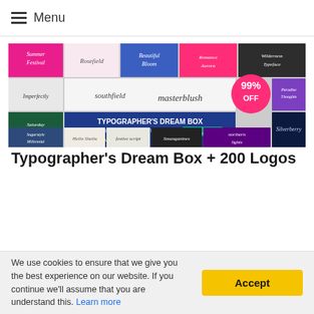Menu
[Figure (illustration): Typographer's Dream Box promotional banner collage showing multiple font/typeface samples including Summer Festival, Rosefield, Beautiful Bloom, Imperfectly, Southfield, Masterblush, Saturday, Sugarstyle Millennial, Hello Sheila, Festive Script, Smanganines, northern lights, Silverberry, Paradise Thoughts, Wilderness Typeface, The Bestseller, with a pink badge showing 99% OFF and blue banner reading TYPOGRAPHER'S DREAM BOX INCLUDING 50+ FONTS IN 21 TYPEFACES + 200 LOGOS $3090 VALUE FOR $15]
Typographer's Dream Box + 200 Logos
We use cookies to ensure that we give you the best experience on our website. If you continue we'll assume that you are understand this. Learn more